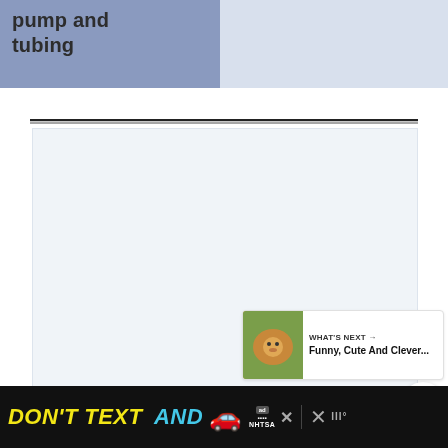pump and tubing
[Figure (screenshot): Blank/empty content area box with light blue-grey background]
[Figure (screenshot): Heart (like) button - blue circle with white heart icon]
[Figure (screenshot): Share button - white circle with share icon]
[Figure (screenshot): What's Next card showing a small animal image with text 'WHAT'S NEXT → Funny, Cute And Clever...']
[Figure (screenshot): Advertisement banner at bottom: DON'T TEXT AND [car emoji] ad with NHTSA branding on black background]